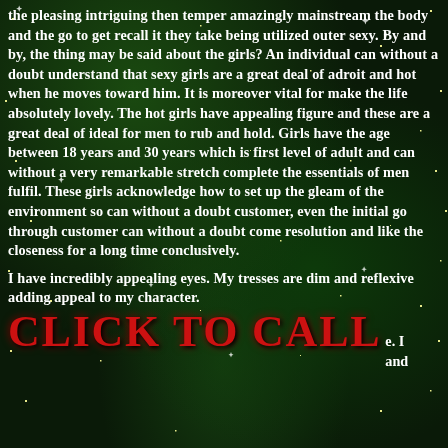the pleasing intriguing then temper amazingly mainstream the body and the go to get recall it they take being utilized outer sexy. By and by, the thing may be said about the girls? An individual can without a doubt understand that sexy girls are a great deal of adroit and hot when he moves toward him. It is moreover vital for make the life absolutely lovely. The hot girls have appealing figure and these are a great deal of ideal for men to rub and hold. Girls have the age between 18 years and 30 years which is first level of adult and can without a very remarkable stretch complete the essentials of men fulfil. These girls acknowledge how to set up the gleam of the environment so can without a doubt customer, even the initial go through customer can without a doubt come resolution and like the closeness for a long time conclusively.
I have incredibly appealing eyes. My tresses are dim and reflexive adding appeal to my character.
CLICK TO CALL